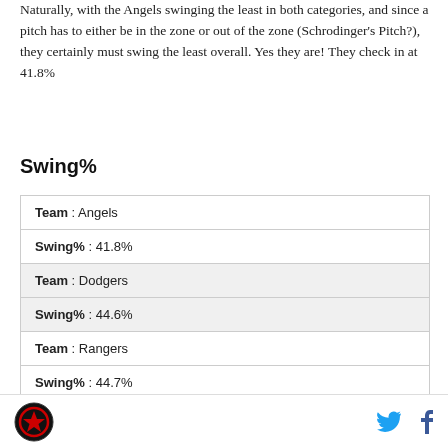Naturally, with the Angels swinging the least in both categories, and since a pitch has to either be in the zone or out of the zone (Schrodinger's Pitch?), they certainly must swing the least overall. Yes they are! They check in at 41.8%
Swing%
| Team : Angels |
| Swing% : 41.8% |
| Team : Dodgers |
| Swing% : 44.6% |
| Team : Rangers |
| Swing% : 44.7% |